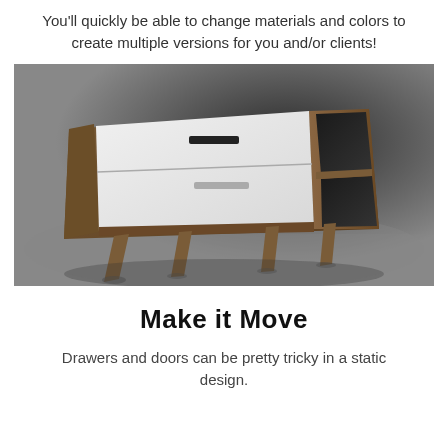You'll quickly be able to change materials and colors to create multiple versions for you and/or clients!
[Figure (photo): 3D render of a mid-century modern wooden sideboard/credenza with two white drawer fronts, metal handles, open shelving on the right side, and angled wooden legs, on a dark gradient background.]
Make it Move
Drawers and doors can be pretty tricky in a static design.